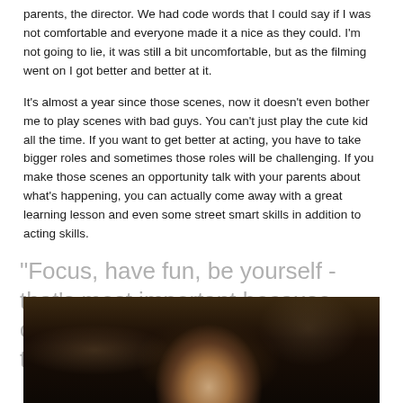parents, the director. We had code words that I could say if I was not comfortable and everyone made it a nice as they could. I'm not going to lie, it was still a bit uncomfortable, but as the filming went on I got better and better at it.
It's almost a year since those scenes, now it doesn't even bother me to play scenes with bad guys. You can't just play the cute kid all the time. If you want to get better at acting, you have to take bigger roles and sometimes those roles will be challenging. If you make those scenes an opportunity talk with your parents about what's happening, you can actually come away with a great learning lesson and even some street smart skills in addition to acting skills.
"Focus, have fun, be yourself - that's most important because casting directors are looking for the real you."
[Figure (photo): A dimly lit photo of a young person with dark hair, sitting at or near a table, looking downward. The image has a dark, moody tone with warm background lighting.]